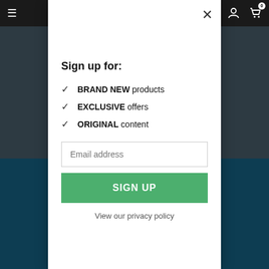Navigation bar with menu, search, account, and cart icons
Sign up for:
BRAND NEW products
EXCLUSIVE offers
ORIGINAL content
Email address
SIGN UP
View our privacy policy